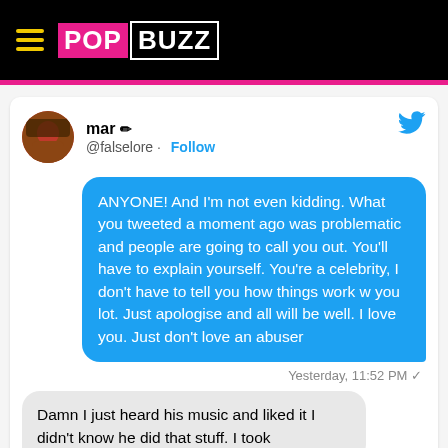PopBuzz
[Figure (screenshot): Screenshot of a tweet by @falselore (mar) embedded on PopBuzz website, showing a blue chat bubble message: 'ANYONE! And I'm not even kidding. What you tweeted a moment ago was problematic and people are going to call you out. You'll have to explain yourself. You're a celebrity, I don't have to tell you how things work w you lot. Just apologise and all will be well. I love you. Just don't love an abuser' timestamped Yesterday, 11:52 PM, followed by a gray bubble: 'Damn I just heard his music and liked it I didn't know he did that stuff. I took']